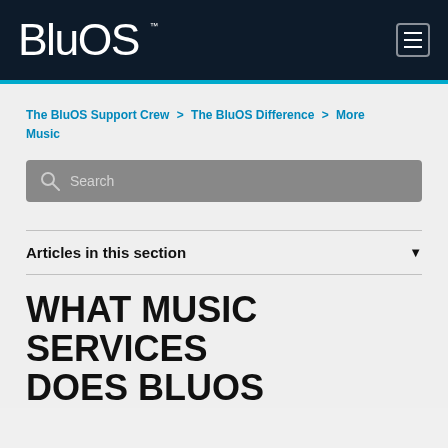BluOS™
The BluOS Support Crew > The BluOS Difference > More Music
Search
Articles in this section
WHAT MUSIC SERVICES DOES BLUOS